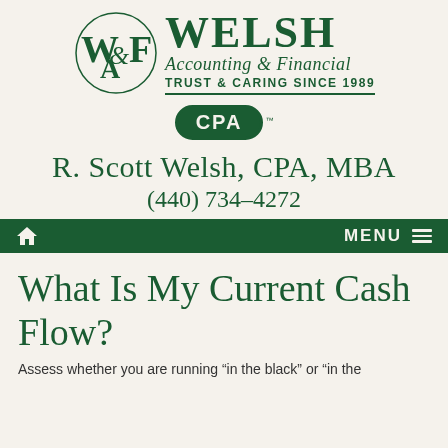[Figure (logo): Welsh Accounting & Financial logo with WAF monogram, 'WELSH Accounting & Financial' text, 'TRUST & CARING SINCE 1989' tagline, and CPA badge]
R. Scott Welsh, CPA, MBA
(440) 734-4272
Home  MENU
What Is My Current Cash Flow?
Assess whether you are running "in the black" or "in the